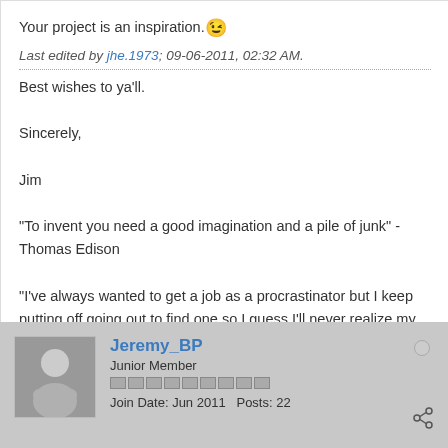Your project is an inspiration. 😉
Last edited by jhe.1973; 09-06-2011, 02:32 AM.
Best wishes to ya'll.

Sincerely,

Jim
"To invent you need a good imagination and a pile of junk" - Thomas Edison
"I've always wanted to get a job as a procrastinator but I keep putting off going out to find one so I guess I'll never realize my life's dream. Frustrating!" - Me
Location: Bustling N.E. Arizona
Jeremy_BP
Junior Member
Join Date: Jun 2011  Posts: 22